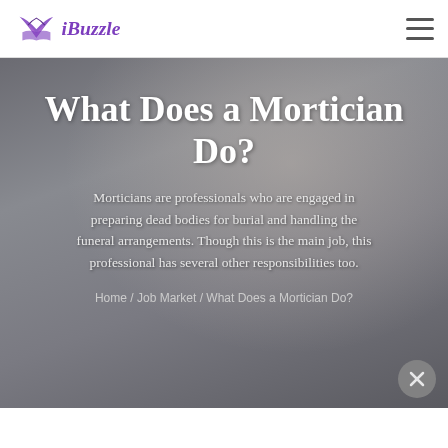iBuzzle
What Does a Mortician Do?
Morticians are professionals who are engaged in preparing dead bodies for burial and handling the funeral arrangements. Though this is the main job, this professional has several other responsibilities too.
Home / Job Market / What Does a Mortician Do?